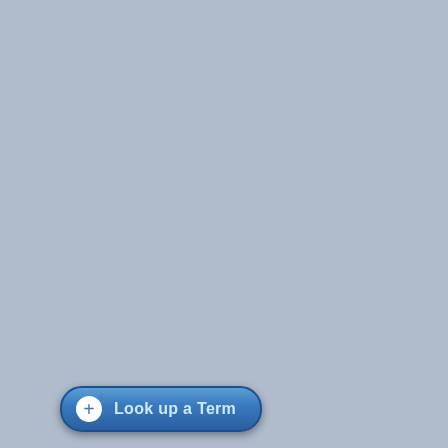1850   190
The estimates you linked both show warming after 1950. So do the GISS and other estimates. You are wrong, but you can't prove it, so you blame forcing.
We did not assume linearity, we used a number of nonli...
Again: You regressed global s... to determine anthropogenic war... N. Atlantic SST, this procedur... you'd be subtracting AGW sig... "natural" called the AMO.
Physical justification of f... forced needs to precede... in our PNAS paper. [K...
I already addressed this point... warming would only be justifie... removed the trend due to ant...
There is a concern tha... analysis is a temperatu... all predictors in the ana...
Look up a Term